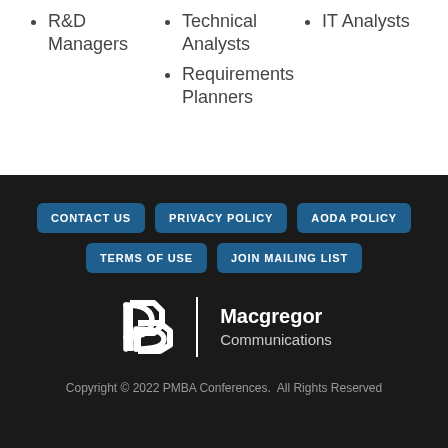R&D Managers
Technical Analysts
Requirements Planners
IT Analysts
CONTACT US  PRIVACY POLICY  AODA POLICY  TERMS OF USE  JOIN MAILING LIST
[Figure (logo): Macgregor Communications logo with stylized double-P icon and company name]
Copyright © 2022 PMBA Conferences.  All Rights Reserved